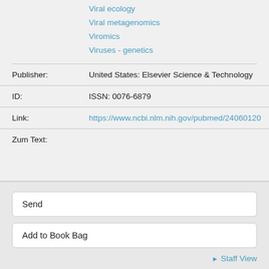Viral ecology
Viral metagenomics
Viromics
Viruses - genetics
Publisher: United States: Elsevier Science & Technology
ID: ISSN: 0076-6879
Link: https://www.ncbi.nlm.nih.gov/pubmed/24060120
Zum Text:
Send
Add to Book Bag
Staff View